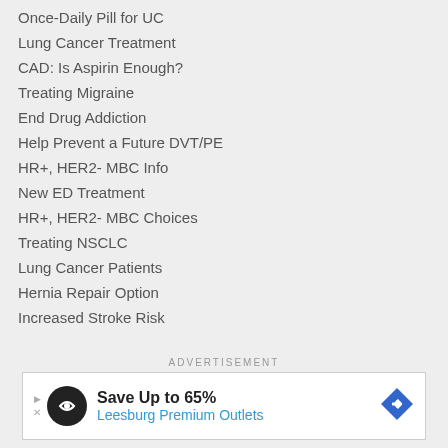Once-Daily Pill for UC
Lung Cancer Treatment
CAD: Is Aspirin Enough?
Treating Migraine
End Drug Addiction
Help Prevent a Future DVT/PE
HR+, HER2- MBC Info
New ED Treatment
HR+, HER2- MBC Choices
Treating NSCLC
Lung Cancer Patients
Hernia Repair Option
Increased Stroke Risk
ADVERTISEMENT
[Figure (infographic): Advertisement banner for Leesburg Premium Outlets with logo, text 'Save Up to 65%' and 'Leesburg Premium Outlets', blue diamond arrow icon, and small play/close icons on the left.]